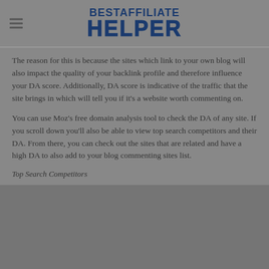BESTAFFILIATE HELPER
The reason for this is because the sites which link to your own blog will also impact the quality of your backlink profile and therefore influence your DA score. Additionally, DA score is indicative of the traffic that the site brings in which will tell you if it's a website worth commenting on.
You can use Moz's free domain analysis tool to check the DA of any site. If you scroll down you'll also be able to view top search competitors and their DA. From there, you can check out the sites that are related and have a high DA to also add to your blog commenting sites list.
Top Search Competitors